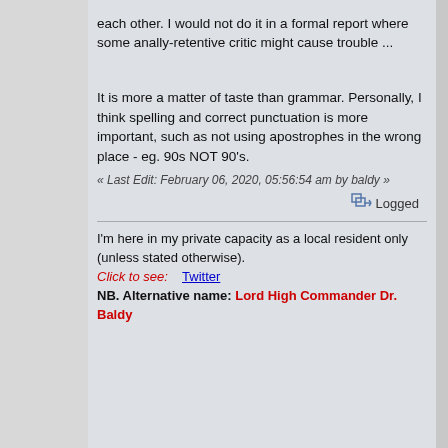each other. I would not do it in a formal report where some anally-retentive critic might cause trouble ...
It is more a matter of taste than grammar. Personally, I think spelling and correct punctuation is more important, such as not using apostrophes in the wrong place - eg. 90s NOT 90's.
« Last Edit: February 06, 2020, 05:56:54 am by baldy »
Logged
I'm here in my private capacity as a local resident only (unless stated otherwise).
Click to see:    Twitter
NB. Alternative name: Lord High Commander Dr. Baldy